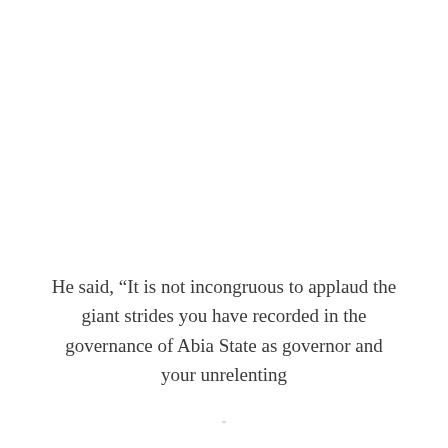He said, “It is not incongruous to applaud the giant strides you have recorded in the governance of Abia State as governor and your unrelenting